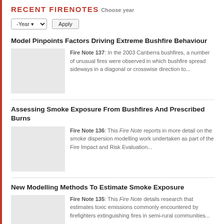RECENT FIRENOTES
Choose year
-Year  Apply
Model Pinpoints Factors Driving Extreme Bushfire Behaviour
Fire Note 137: In the 2003 Canberra bushfires, a number of unusual fires were observed in which bushfire spread sideways in a diagonal or crosswise direction to...
Assessing Smoke Exposure From Bushfires And Prescribed Burns
Fire Note 136: This Fire Note reports in more detail on the smoke dispersion modelling work undertaken as part of the Fire Impact and Risk Evaluation...
New Modelling Methods To Estimate Smoke Exposure
Fire Note 135: This Fire Note details research that estimates toxic emissions commonly encountered by firefighters extinguishing fires in semi-rural communities...